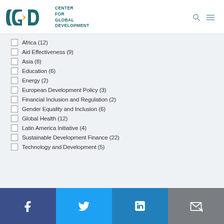[Figure (logo): Center for Global Development (CGD) logo with teal and yellow lettermark and organization name]
Africa (12)
Aid Effectiveness (9)
Asia (8)
Education (6)
Energy (2)
European Development Policy (3)
Financial Inclusion and Regulation (2)
Gender Equality and Inclusion (6)
Global Health (12)
Latin America Initiative (4)
Sustainable Development Finance (22)
Technology and Development (5)
Social media links: Facebook, Twitter, LinkedIn, Email